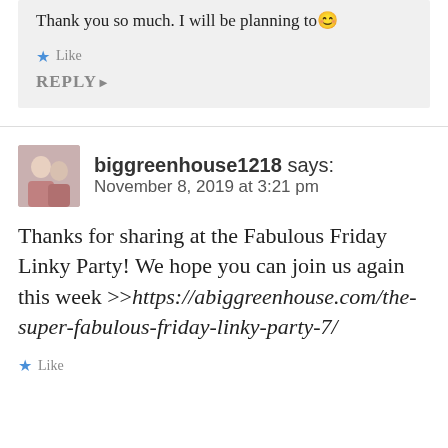Thank you so much. I will be planning to 😊
Like
REPLY
biggreenhouse1218 says: November 8, 2019 at 3:21 pm
Thanks for sharing at the Fabulous Friday Linky Party! We hope you can join us again this week >>https://abiggreenhouse.com/the-super-fabulous-friday-linky-party-7/
Like